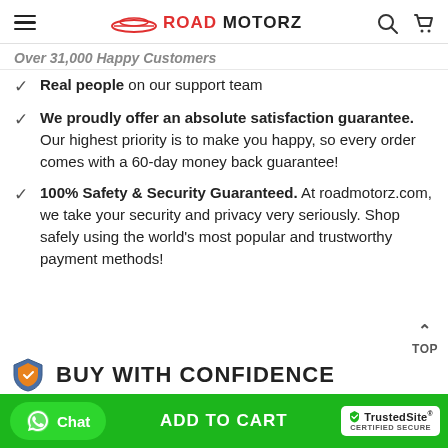ROAD MOTORZ
Over 31,000 Happy Customers
Real people on our support team
We proudly offer an absolute satisfaction guarantee. Our highest priority is to make you happy, so every order comes with a 60-day money back guarantee!
100% Safety & Security Guaranteed. At roadmotorz.com, we take your security and privacy very seriously. Shop safely using the world's most popular and trustworthy payment methods!
BUY WITH CONFIDENCE
Chat  ADD TO CART  TrustedSite CERTIFIED SECURE